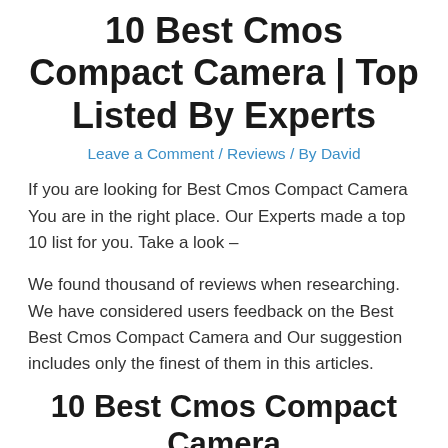10 Best Cmos Compact Camera | Top Listed By Experts
Leave a Comment / Reviews / By David
If you are looking for Best Cmos Compact Camera You are in the right place. Our Experts made a top 10 list for you. Take a look –
We found thousand of reviews when researching. We have considered users feedback on the Best Best Cmos Compact Camera and Our suggestion includes only the finest of them in this articles.
10 Best Cmos Compact Camera